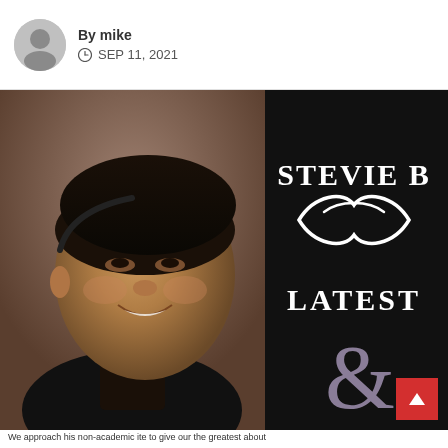By mike · SEP 11, 2021
[Figure (photo): Split image: left half shows a smiling man with dark curly hair wearing a black jacket, right half is a black background with white text 'STEVIE B' and a decorative swirl, then 'LATEST' and a large stylized ampersand '&' in grey/purple]
We approach his non-academic ite to give our the greatest about